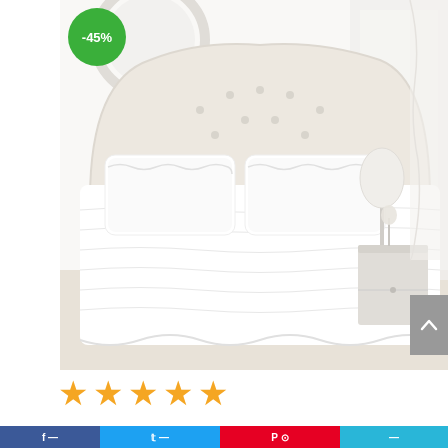[Figure (photo): White ruffled bed sheets set on a white upholstered bed with tufted headboard, white pillows, and a white lamp on a nightstand. The bedding is crisp white with decorative ruffle edges. A discount badge showing -45% is overlaid in the top left corner.]
-45%
[Figure (infographic): 5 orange/gold stars rating]
29.99